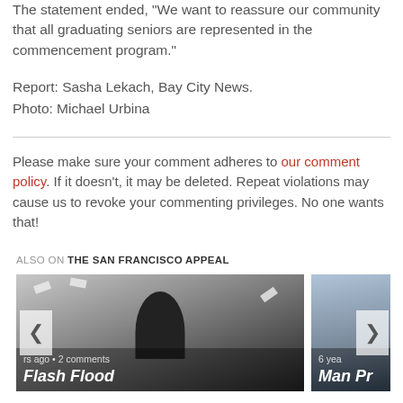The statement ended, "We want to reassure our community that all graduating seniors are represented in the commencement program."
Report: Sasha Lekach, Bay City News.
Photo: Michael Urbina
Please make sure your comment adheres to our comment policy. If it doesn't, it may be deleted. Repeat violations may cause us to revoke your commenting privileges. No one wants that!
ALSO ON THE SAN FRANCISCO APPEAL
[Figure (photo): Photo of a man with money falling around him, with navigation arrows and caption 'Flash Flood ... rs ago • 2 comments']
[Figure (photo): Partially visible photo on the right side with caption 'Man Pr...' and '6 yea...' text]